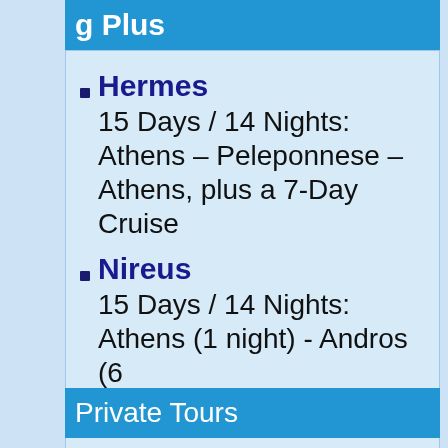g Plus
Hermes
15 Days / 14 Nights: Athens – Peleponnese – Athens, plus a 7-Day Cruise
Nireus
15 Days / 14 Nights: Athens (1 night) - Andros (6
Private Tours